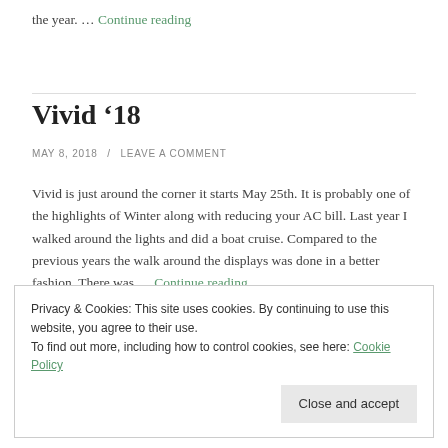the year. … Continue reading
Vivid '18
MAY 8, 2018 / LEAVE A COMMENT
Vivid is just around the corner it starts May 25th. It is probably one of the highlights of Winter along with reducing your AC bill. Last year I walked around the lights and did a boat cruise. Compared to the previous years the walk around the displays was done in a better fashion. There was … Continue reading
Privacy & Cookies: This site uses cookies. By continuing to use this website, you agree to their use. To find out more, including how to control cookies, see here: Cookie Policy